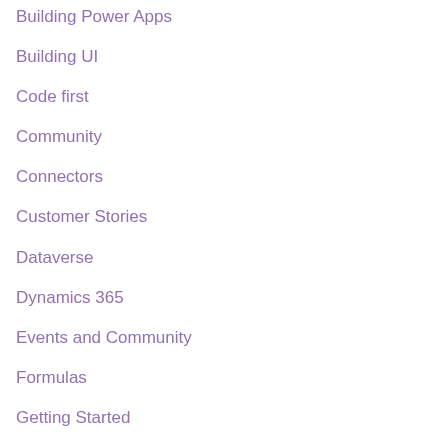Building Power Apps
Building UI
Code first
Community
Connectors
Customer Stories
Dataverse
Dynamics 365
Events and Community
Formulas
Getting Started
Learning
New Features